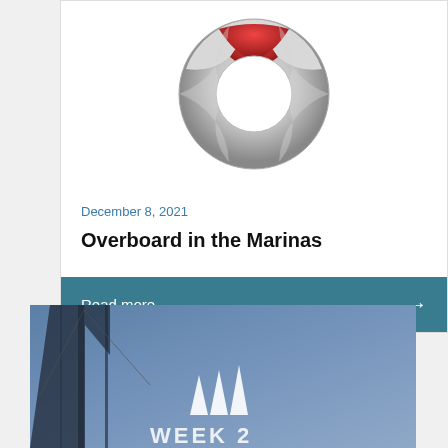[Figure (illustration): Life preserver / lifebuoy ring illustration, white and red colored, partially cropped at top]
December 8, 2021
Overboard in the Marinas
Read more →
[Figure (photo): Nautical/marina scene with sailboat rigging and blue sky, featuring a sailing brand logo with three triangular sails icon and partial text at bottom]